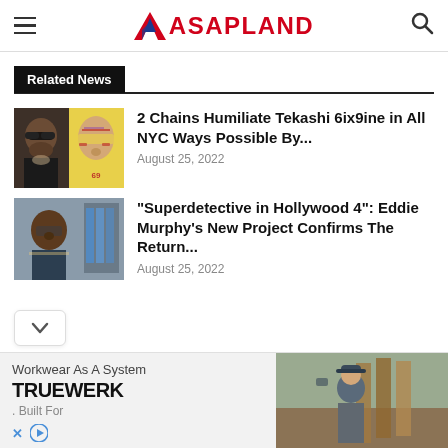ASAPLAND
Related News
[Figure (photo): Thumbnail image of 2 Chains and Tekashi 6ix9ine]
2 Chains Humiliate Tekashi 6ix9ine in All NYC Ways Possible By...
August 25, 2022
[Figure (photo): Thumbnail image of Eddie Murphy as a detective]
"Superdetective in Hollywood 4": Eddie Murphy's New Project Confirms The Return...
August 25, 2022
[Figure (photo): Advertisement: TRUEWERK workwear, photo of worker in construction setting. Text: Workwear As A System, TRUEWERK, Built For]